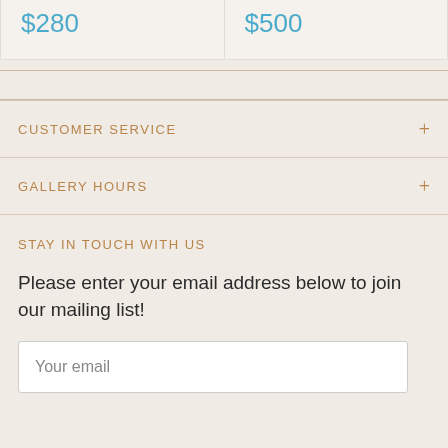| Price 1 | Price 2 |
| --- | --- |
| $280 | $500 |
CUSTOMER SERVICE
GALLERY HOURS
STAY IN TOUCH WITH US
Please enter your email address below to join our mailing list!
Your email